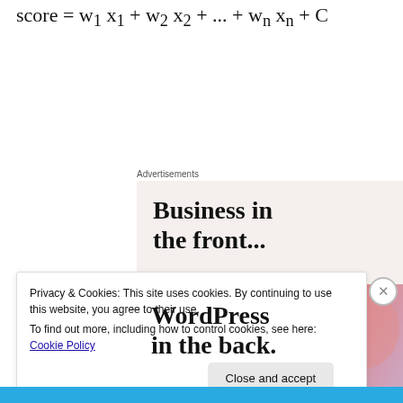[Figure (other): Advertisement banner with text 'Business in the front...' above and 'WordPress in the back.' on a colorful gradient background with blobs]
Privacy & Cookies: This site uses cookies. By continuing to use this website, you agree to their use. To find out more, including how to control cookies, see here: Cookie Policy